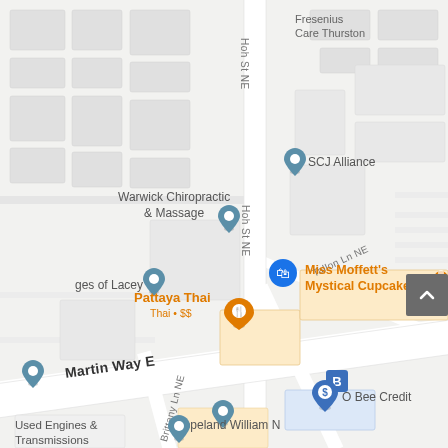[Figure (map): Google Maps street map showing an area in Lacey, WA near Martin Way E and Hoh St NE. Shows businesses including Fresenius Care Thurston, SCJ Alliance, Warwick Chiropractic & Massage, Miss Moffett's Mystical Cupcakes, Pattaya Thai (Thai • $$), O Bee Credit, Copeland William N, Used Engines & Transmissions, and a location marker for 'ges of Lacey'. Streets shown: Martin Way E, Hoh St NE, Tallon Ln NE, Brittany Ln NE. A bus stop icon and a scroll-up button are visible.]